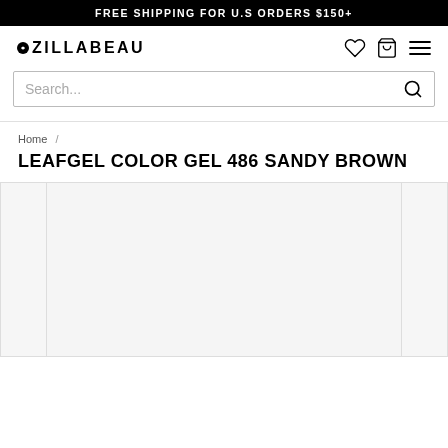FREE SHIPPING FOR U.S ORDERS $150+
[Figure (logo): OZILLABEAU logo with wishlist, cart, and menu icons]
[Figure (screenshot): Search bar with search icon]
Home /
LEAFGEL COLOR GEL 486 SANDY BROWN
[Figure (photo): Product image area showing thumbnail strip on left, main product image in center, and partial thumbnail on right — all blank/loading]